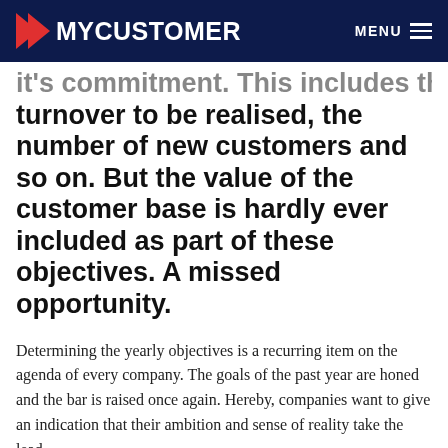MYCUSTOMER   MENU
it's commitment. This includes the turnover to be realised, the number of new customers and so on. But the value of the customer base is hardly ever included as part of these objectives. A missed opportunity.
Determining the yearly objectives is a recurring item on the agenda of every company. The goals of the past year are honed and the bar is raised once again. Hereby, companies want to give an indication that their ambition and sense of reality take the lead.